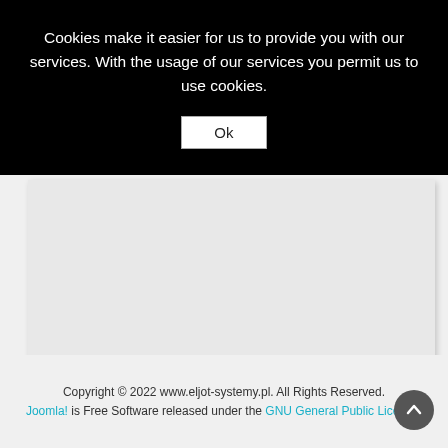Cookies make it easier for us to provide you with our services. With the usage of our services you permit us to use cookies.
Ok
[Figure (map): Embedded map area with light grey background, partially visible]
Copyright © 2022 www.eljot-systemy.pl. All Rights Reserved. Joomla! is Free Software released under the GNU General Public License.